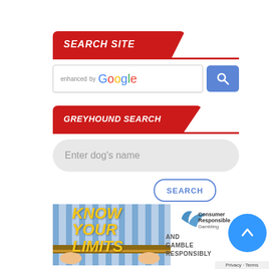SEARCH SITE
[Figure (screenshot): Google enhanced search bar with search button]
GREYHOUND SEARCH
Enter dog's name
SEARCH
[Figure (photo): Know Your Limits responsible gambling image with person in striped shirt and yellow bold text saying KNOW YOUR LIMITS, alongside GamCare logo and AND GAMBLE RESPONSIBLY text]
AND GAMBLE RESPONSIBLY
Privacy · Terms